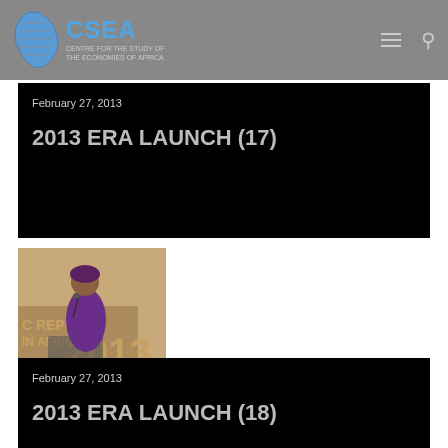[Figure (logo): CSEA logo with Africa map graphic and text 'CENTRE FOR THE STUDY OF THE ECONOMIES OF AFRICA']
CSEA — navigation header with hamburger menu and search icon
February 27, 2013
2013 ERA LAUNCH (17)
[Figure (photo): Woman in purple traditional African dress and headwrap speaking at a podium in front of a banner reading 'C REPORT IN AFRICA 2013']
February 27, 2013
2013 ERA LAUNCH (18)